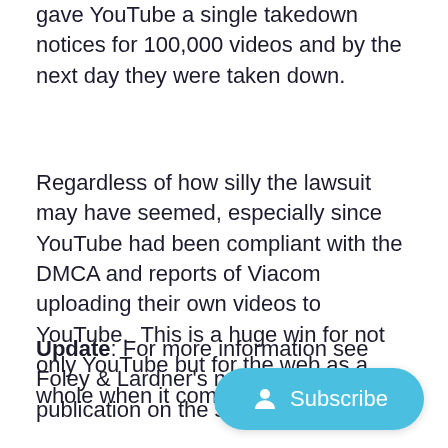gave YouTube a single takedown notices for 100,000 videos and by the next day they were taken down.
Regardless of how silly the lawsuit may have seemed, especially since YouTube had been compliant with the DMCA and reports of Viacom uploading their own videos to YouTube. This is a huge win for not only YouTube but for the web as a whole when it comes to the DMCA.
Update: For more information see Foley & Lardner's newsletter publication on the subject matter.
[Figure (other): Subscribe button with person icon, light blue rounded rectangle]